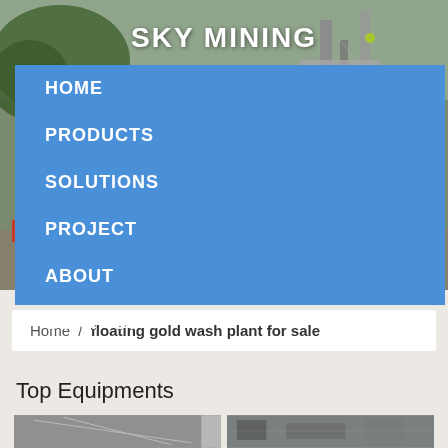SKY MINING
HOME
PRODUCTS
SOLUTIONS
PROJECT
ABOUT
CONTACT
Home / floating gold wash plant for sale
Top Equipments
[Figure (photo): Two partial thumbnail images of mining equipment at the bottom of the page]